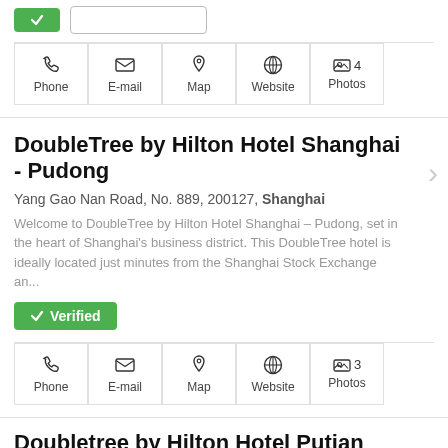[Figure (screenshot): Top bar with green Verified button and input field]
[Figure (other): Contact icon row: Phone, E-mail, Map, Website, 4 Photos]
DoubleTree by Hilton Hotel Shanghai - Pudong
Yang Gao Nan Road, No. 889, 200127, Shanghai
Welcome to DoubleTree by Hilton Hotel Shanghai – Pudong, set in the heart of Shanghai's business district. This DoubleTree hotel is ideally located just minutes from the Shanghai Stock Exchange an...
✓ Verified
[Figure (other): Contact icon row: Phone, E-mail, Map, Website, 3 Photos]
Doubletree by Hilton Hotel Putian
No. 2276 Middle Licheng Avenue, 351100, Putian
From the warm chocolate chip cookie at check-in, to the moment we say